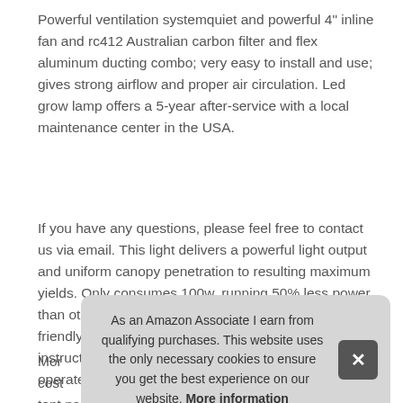Powerful ventilation systemquiet and powerful 4" inline fan and rc412 Australian carbon filter and flex aluminum ducting combo; very easy to install and use; gives strong airflow and proper air circulation. Led grow lamp offers a 5-year after-service with a local maintenance center in the USA.
If you have any questions, please feel free to contact us via email. This light delivers a powerful light output and uniform canopy penetration to resulting maximum yields. Only consumes 100w, running 50% less power than other Blurple lamps or HPS. Designed to user-friendly; comes with easy to follow installation instructions; easy to assemble and very simple to operate, even for beginner growers.
As an Amazon Associate I earn from qualifying purchases. This website uses the only necessary cookies to ensure you get the best experience on our website. More information
Mor... cost... tent package, our kit saves $$ and a lot of time vs buying each